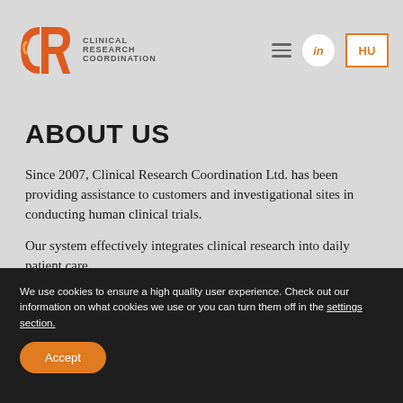[Figure (logo): CRC Clinical Research Coordination logo with orange/red C-R-C icon and text]
ABOUT US
Since 2007, Clinical Research Coordination Ltd. has been providing assistance to customers and investigational sites in conducting human clinical trials.
Our system effectively integrates clinical research into daily patient care.
We use cookies to ensure a high quality user experience. Check out our information on what cookies we use or you can turn them off in the settings section.
Accept